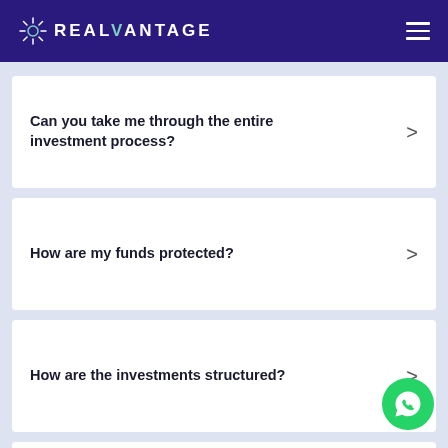REALVANTAGE
Can you take me through the entire investment process?
How are my funds protected?
How are the investments structured?
How liquid is my investment?